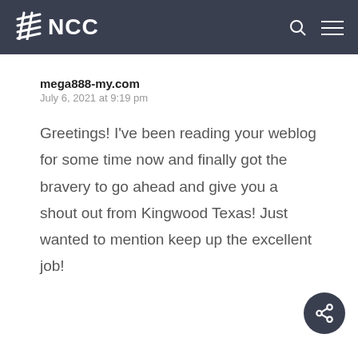NCC
mega888-my.com
July 6, 2021 at 9:19 pm
Greetings! I've been reading your weblog for some time now and finally got the bravery to go ahead and give you a shout out from Kingwood Texas! Just wanted to mention keep up the excellent job!